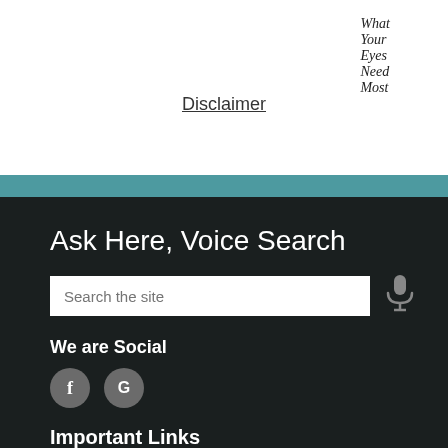[Figure (logo): Eye care logo with tagline 'What Your Eyes Need Most']
Disclaimer
Ask Here, Voice Search
Search the site
We are Social
[Figure (illustration): Facebook and Google social media icon circles]
Important Links
Our Services
Your Eye Doctors